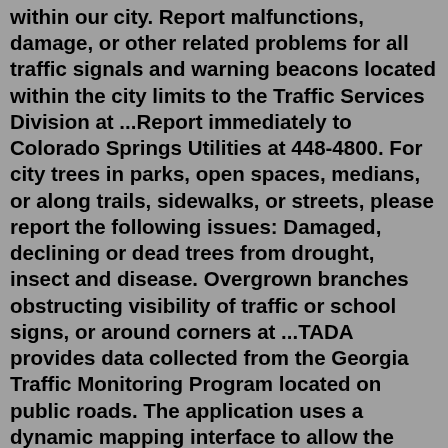within our city. Report malfunctions, damage, or other related problems for all traffic signals and warning beacons located within the city limits to the Traffic Services Division at ...Report immediately to Colorado Springs Utilities at 448-4800. For city trees in parks, open spaces, medians, or along trails, sidewalks, or streets, please report the following issues: Damaged, declining or dead trees from drought, insect and disease. Overgrown branches obstructing visibility of traffic or school signs, or around corners at ...TADA provides data collected from the Georgia Traffic Monitoring Program located on public roads. The application uses a dynamic mapping interface to allow the user to access data from the map and in a variety of report, graph, and data export formats. View help if assistance is needed. Driving Record Fees in Texas. In Texas, motorists must pay different fees depending on the type of driving record they are requesting. Thus, consider the following costs for this type of document: License status record - $4. 3-year record - $6. Record of all